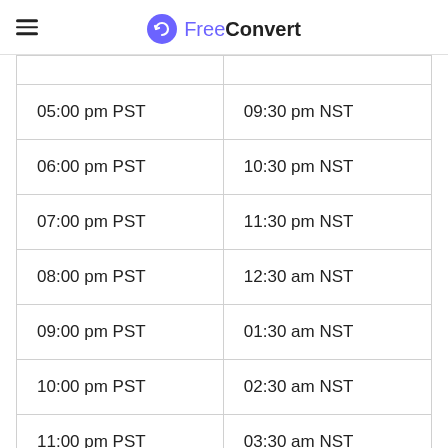FreeConvert
|  |  |
| 05:00 pm PST | 09:30 pm NST |
| 06:00 pm PST | 10:30 pm NST |
| 07:00 pm PST | 11:30 pm NST |
| 08:00 pm PST | 12:30 am NST |
| 09:00 pm PST | 01:30 am NST |
| 10:00 pm PST | 02:30 am NST |
| 11:00 pm PST | 03:30 am NST |